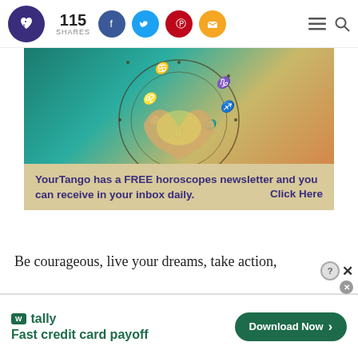115 SHARES — social share buttons, menu, search
[Figure (photo): Astrology zodiac wheel with hands forming a heart shape in the center, glowing light, teal and golden tones; below is a beige banner: 'YourTango has a FREE horoscopes newsletter and you can receive in your inbox daily. Click Here']
Be courageous, live your dreams, take action,
[Figure (infographic): Tally app advertisement: green Tally logo box, 'tally' name, 'Fast credit card payoff' tagline, 'Download Now' button with arrow. Close/help icons in top right.]